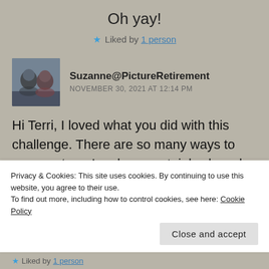Oh yay!
★ Liked by 1 person
Suzanne@PictureRetirement
NOVEMBER 30, 2021 AT 12:14 PM
[Figure (photo): Avatar photo of a couple, man and woman, outdoors]
Hi Terri, I loved what you did with this challenge. There are so many ways to express 'cozy' and you certainly shared a lot of them. Cozy is my favorite
Privacy & Cookies: This site uses cookies. By continuing to use this website, you agree to their use.
To find out more, including how to control cookies, see here: Cookie Policy
Close and accept
★ Liked by 1 person